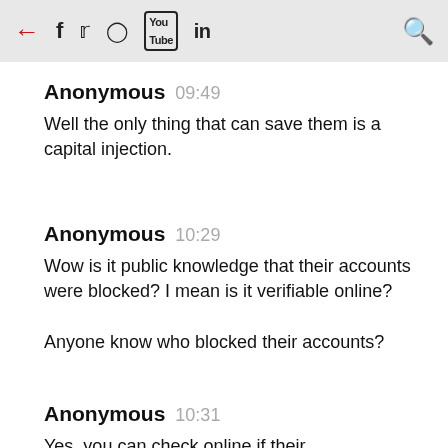← f 𝕥 ⊙ Yt in 🔍
Anonymous  09:49
Well the only thing that can save them is a capital injection.
Anonymous  10:29
Wow is it public knowledge that their accounts were blocked? I mean is it verifiable online?

Anyone know who blocked their accounts?
Anonymous  10:31
Yes, you can check online if their